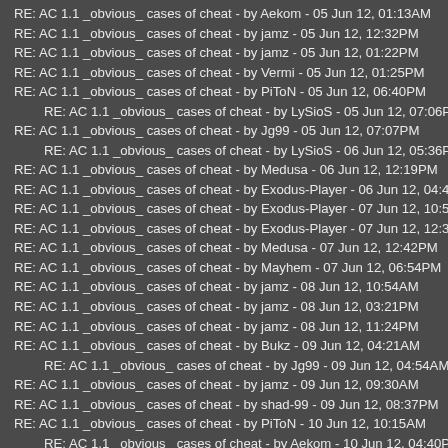RE: AC 1.1 _obvious_ cases of cheat - by Aekom - 05 Jun 12, 01:13AM
RE: AC 1.1 _obvious_ cases of cheat - by jamz - 05 Jun 12, 12:32PM
RE: AC 1.1 _obvious_ cases of cheat - by jamz - 05 Jun 12, 01:22PM
RE: AC 1.1 _obvious_ cases of cheat - by Vermi - 05 Jun 12, 01:25PM
RE: AC 1.1 _obvious_ cases of cheat - by PiToN - 05 Jun 12, 06:40PM
RE: AC 1.1 _obvious_ cases of cheat - by LySioS - 05 Jun 12, 07:06PM (indented)
RE: AC 1.1 _obvious_ cases of cheat - by Jg99 - 05 Jun 12, 07:07PM
RE: AC 1.1 _obvious_ cases of cheat - by LySioS - 06 Jun 12, 05:36PM (indented)
RE: AC 1.1 _obvious_ cases of cheat - by Medusa - 06 Jun 12, 12:19PM
RE: AC 1.1 _obvious_ cases of cheat - by Exodus-Player - 06 Jun 12, 04:42PM
RE: AC 1.1 _obvious_ cases of cheat - by Exodus-Player - 07 Jun 12, 10:55AM
RE: AC 1.1 _obvious_ cases of cheat - by Exodus-Player - 07 Jun 12, 12:39PM
RE: AC 1.1 _obvious_ cases of cheat - by Medusa - 07 Jun 12, 12:42PM
RE: AC 1.1 _obvious_ cases of cheat - by Mayhem - 07 Jun 12, 06:54PM
RE: AC 1.1 _obvious_ cases of cheat - by jamz - 08 Jun 12, 10:54AM
RE: AC 1.1 _obvious_ cases of cheat - by jamz - 08 Jun 12, 03:21PM
RE: AC 1.1 _obvious_ cases of cheat - by jamz - 08 Jun 12, 11:24PM
RE: AC 1.1 _obvious_ cases of cheat - by Bukz - 09 Jun 12, 04:21AM
RE: AC 1.1 _obvious_ cases of cheat - by Jg99 - 09 Jun 12, 04:54AM (indented)
RE: AC 1.1 _obvious_ cases of cheat - by jamz - 09 Jun 12, 09:30AM
RE: AC 1.1 _obvious_ cases of cheat - by shad-99 - 09 Jun 12, 08:37PM
RE: AC 1.1 _obvious_ cases of cheat - by PiToN - 10 Jun 12, 10:15AM
RE: AC 1.1 _obvious_ cases of cheat - by Aekom - 10 Jun 12, 04:40PM (indented)
RE: AC 1.1 _obvious_ cases of cheat - by jamz - 10 Jun 12, 11:49AM
RE: AC 1.1 _obvious_ cases of cheat - by PiToN - 10 Jun 12, 03:42PM